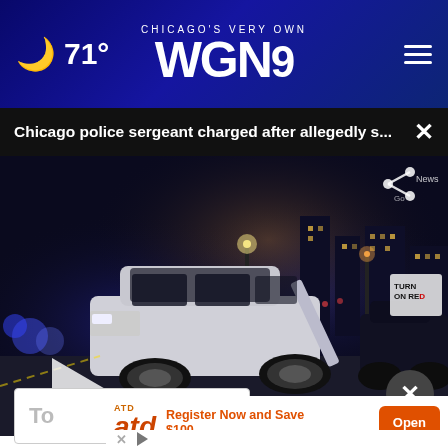🌙 71° — CHICAGO'S VERY OWN WGN9
Chicago police sergeant charged after allegedly s... ×
[Figure (screenshot): Night scene video still showing police SUV with open door at crime scene, city lights in background, with play button overlay and share icon. Video thumbnail from WGN9 news story.]
To
ATD  Register Now and Save $100  Open